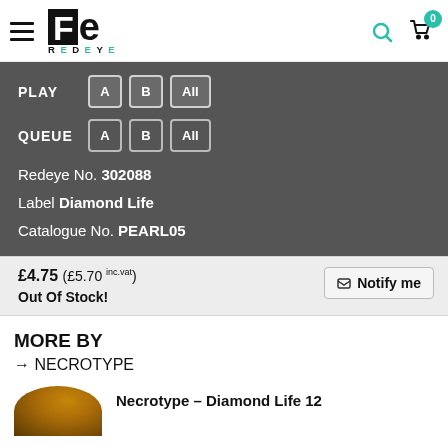[Figure (logo): Redeye Records logo with hamburger menu, search icon, and cart with badge 0]
PLAY A B All
QUEUE A B All
Redeye No. 302088
Label Diamond Life
Catalogue No. PEARL05
£4.75 (£5.70 inc.vat)
Out Of Stock!
MORE BY
→ NECROTYPE
Necrotype – Diamond Life 12